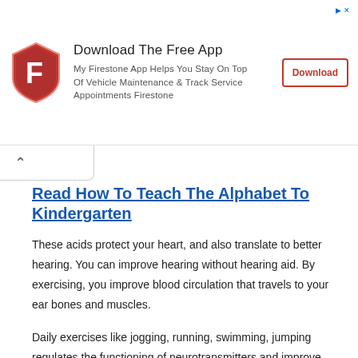[Figure (logo): Firestone shield logo with red background and white F letter]
Download The Free App
My Firestone App Helps You Stay On Top Of Vehicle Maintenance & Track Service Appointments Firestone
Download
Read How To Teach The Alphabet To Kindergarten
These acids protect your heart, and also translate to better hearing. You can improve hearing without hearing aid. By exercising, you improve blood circulation that travels to your ear bones and muscles.
Daily exercises like jogging, running, swimming, jumping regulates the functioning of neurotransmitters and improve hearing naturally. Fatty foods can reduce supply of blood to your body parts, including ears. Hearing aids are the medical devices to address